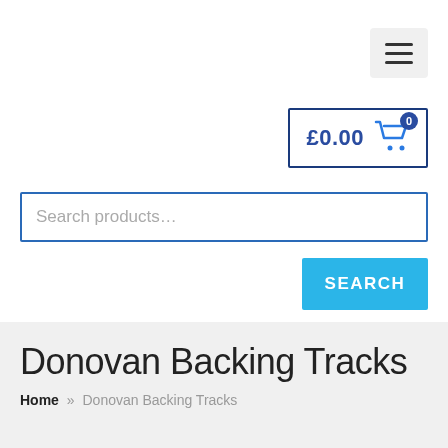[Figure (screenshot): Hamburger menu button with three horizontal lines on light gray background]
[Figure (screenshot): Shopping cart icon with £0.00 price and badge showing 0, in a blue-bordered box]
Search products…
SEARCH
Donovan Backing Tracks
Home » Donovan Backing Tracks